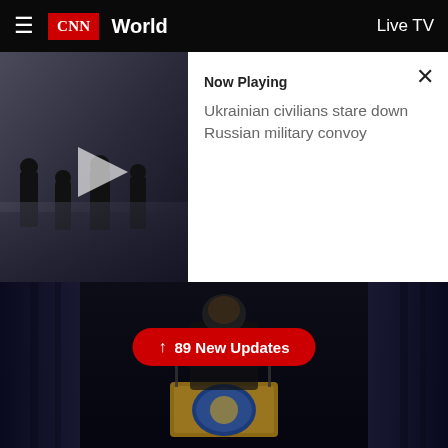CNN World — Live TV
[Figure (screenshot): Video thumbnail showing Ukrainian civilians near a military convoy, with a play button overlay. Now Playing panel shows title: Ukrainian civilians stare down Russian military convoy]
Now Playing
Ukrainian civilians stare down Russian military convoy
[Figure (photo): Japanese Prime Minister Fumio Kishida speaks at a podium during a press conference on March 3, 2022 in Tokyo, Japan. A red pill button overlay reads: ↑ 89 New Updates]
Japanese Prime Minister, Fumio Kishida, speaks during a press conference on March 3, 2022 in Tokyo, Japan. (Kim Kyung-Hoon/Getty Images)
Japanese Prime Minister Fumio Kishida said the country will sanction Russian oligarchs and Belarusian